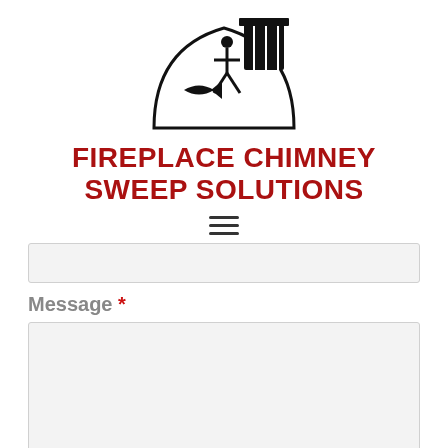[Figure (logo): Fireplace chimney sweep company logo: silhouette of chimney sweep with chimney and fish symbol]
FIREPLACE CHIMNEY SWEEP SOLUTIONS
[Figure (other): Hamburger menu navigation icon (three horizontal lines)]
Message *